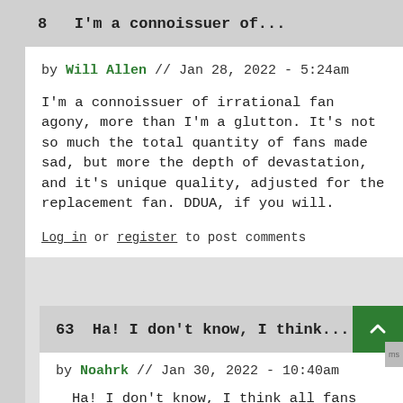8   I'm a connoissuer of...
by Will Allen // Jan 28, 2022 - 5:24am
I'm a connoissuer of irrational fan agony, more than I'm a glutton. It's not so much the total quantity of fans made sad, but more the depth of devastation, and it's unique quality, adjusted for the replacement fan. DDUA, if you will.
Log in or register to post comments
63  Ha! I don't know, I think...
by Noahrk // Jan 30, 2022 - 10:40am
Ha! I don't know, I think all fans are